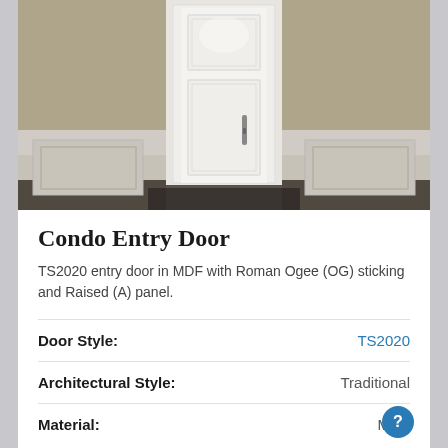[Figure (photo): Interior condo entry hallway showing a white paneled door with dark hardware, wainscoting on walls, beige/olive painted walls above, and dark floor mat at base of door]
Condo Entry Door
TS2020 entry door in MDF with Roman Ogee (OG) sticking and Raised (A) panel.
| Door Style: | TS2020 |
| Architectural Style: | Traditional |
| Material: | MDF |